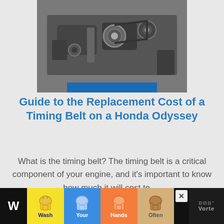[Figure (photo): Close-up photo of a car engine compartment showing belts, pulleys, and mechanical components]
Guide to the Replacement Cost of a Timing Belt on a Honda Odyssey
What is the timing belt? The timing belt is a critical component of your engine, and it's important to know how much it will cost to …
Read More
[Figure (photo): Photo of a car engine with a red hood and a Vortec engine cover visible]
[Figure (infographic): Wash Your Hands Often advertisement banner with hand-washing illustrations in yellow, blue, orange, and tan panels]